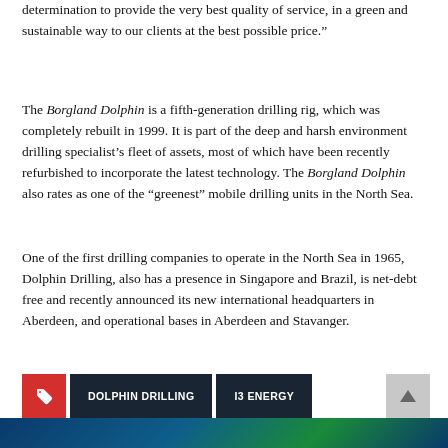determination to provide the very best quality of service, in a green and sustainable way to our clients at the best possible price.”
The Borgland Dolphin is a fifth-generation drilling rig, which was completely rebuilt in 1999. It is part of the deep and harsh environment drilling specialist’s fleet of assets, most of which have been recently refurbished to incorporate the latest technology. The Borgland Dolphin also rates as one of the “greenest” mobile drilling units in the North Sea.
One of the first drilling companies to operate in the North Sea in 1965, Dolphin Drilling, also has a presence in Singapore and Brazil, is net-debt free and recently announced its new international headquarters in Aberdeen, and operational bases in Aberdeen and Stavanger.
DOLPHIN DRILLING
I3 ENERGY